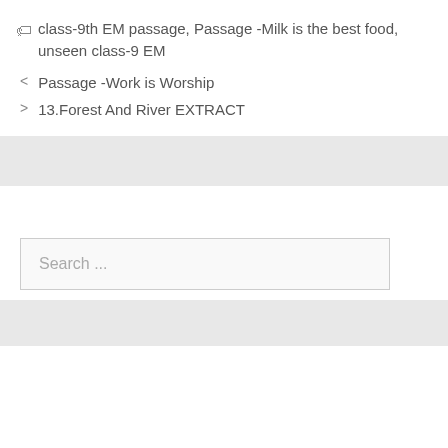class-9th EM passage, Passage -Milk is the best food, unseen class-9 EM
Passage -Work is Worship
13.Forest And River EXTRACT
Search ...